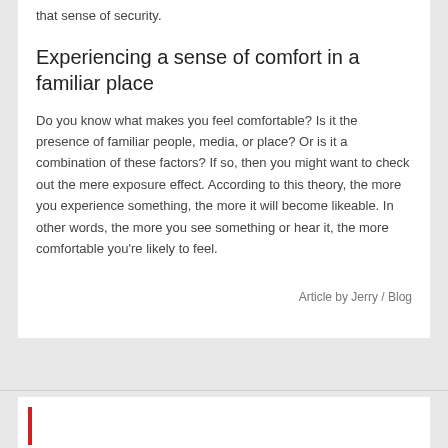that sense of security.
Experiencing a sense of comfort in a familiar place
Do you know what makes you feel comfortable? Is it the presence of familiar people, media, or place? Or is it a combination of these factors? If so, then you might want to check out the mere exposure effect. According to this theory, the more you experience something, the more it will become likeable. In other words, the more you see something or hear it, the more comfortable you’re likely to feel.
Article by Jerry / Blog